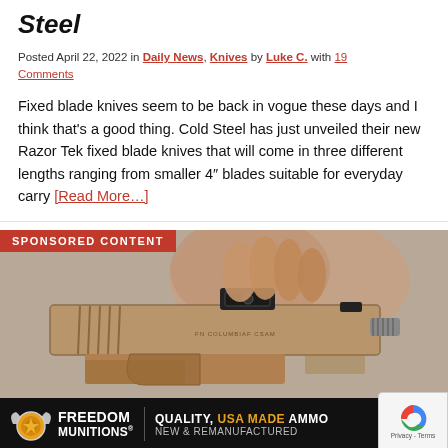Steel
Posted April 22, 2022 in Daily News, Knives by Luke C. with 19 Comments
Fixed blade knives seem to be back in vogue these days and I think that's a good thing. Cold Steel has just unveiled their new Razor Tek fixed blade knives that will come in three different lengths ranging from smaller 4" blades suitable for everyday carry [Read More…]
[Figure (photo): Sponsored content banner showing a hand gripping a tan/FDE colored pistol with red dot sight and threaded barrel, above a Freedom Munitions advertisement bar reading 'QUALITY, USA MADE AMMO NEW & REMANUFACTURED']